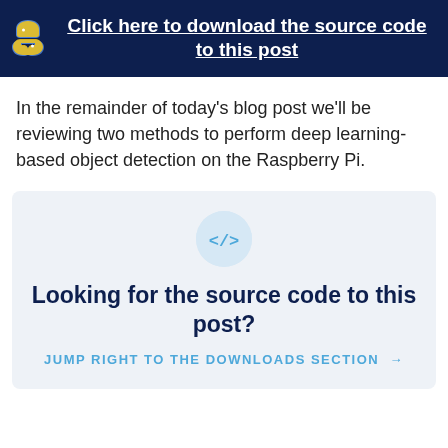[Figure (logo): Python logo (snake) in yellow and blue, with dark navy background banner containing a link]
Click here to download the source code to this post
In the remainder of today's blog post we'll be reviewing two methods to perform deep learning-based object detection on the Raspberry Pi.
Looking for the source code to this post?
JUMP RIGHT TO THE DOWNLOADS SECTION →